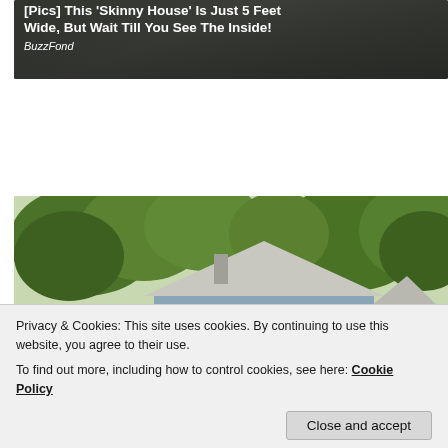[Figure (screenshot): Dark-toned card with white bold text overlay reading '[Pics] This Skinny House Is Just 5 Feet Wide, But Wait Till You See The Inside!' and italic source label 'BuzzFond' on a dark background showing a row of houses]
[Figure (photo): Exterior photograph of a blue-grey craftsman style small house with a white front porch, railing, and columns, surrounded by large green trees. A similar house is visible to the right. Sunny outdoor setting.]
Privacy & Cookies: This site uses cookies. By continuing to use this website, you agree to their use.
To find out more, including how to control cookies, see here: Cookie Policy
Close and accept
Better Housing | Real Homes